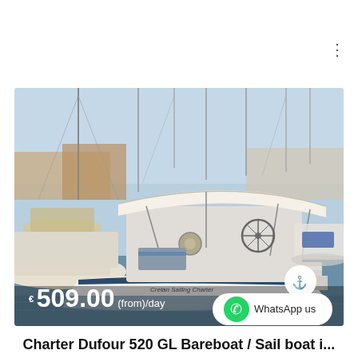[Figure (photo): Dufour 520 GL sailboat moored at a marina, view of cockpit from stern, bimini top visible, other boats in background]
€509.00(from)/day
WhatsApp us
Charter Dufour 520 GL Bareboat / Sail boat i...